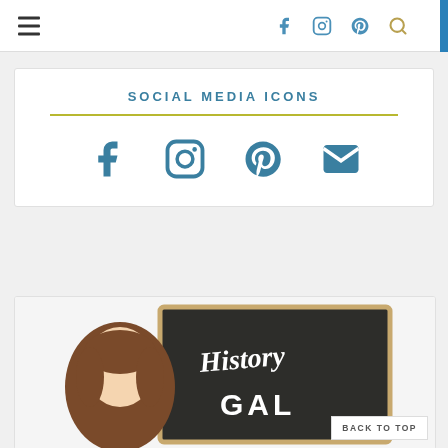Navigation header with hamburger menu and social icons (Facebook, Instagram, Pinterest, Search)
SOCIAL MEDIA ICONS
[Figure (infographic): Four social media icons displayed in a row: Facebook (f), Instagram (camera), Pinterest (p), Email (envelope), all in blue/teal color]
[Figure (illustration): Partial illustration of a cartoon woman with brown hair next to a chalkboard sign reading 'History Gal']
BACK TO TOP